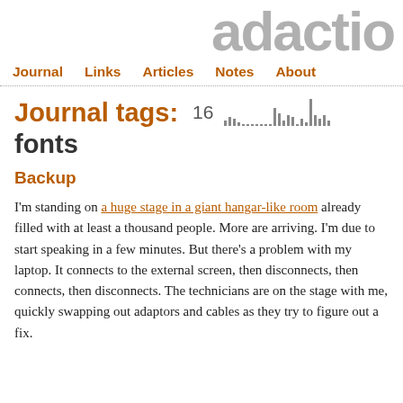adactio
Journal  Links  Articles  Notes  About
Journal tags: 16 fonts
Backup
I'm standing on a huge stage in a giant hangar-like room already filled with at least a thousand people. More are arriving. I'm due to start speaking in a few minutes. But there's a problem with my laptop. It connects to the external screen, then disconnects, then connects, then disconnects. The technicians are on the stage with me, quickly swapping out adaptors and cables as they try to figure out a fix.